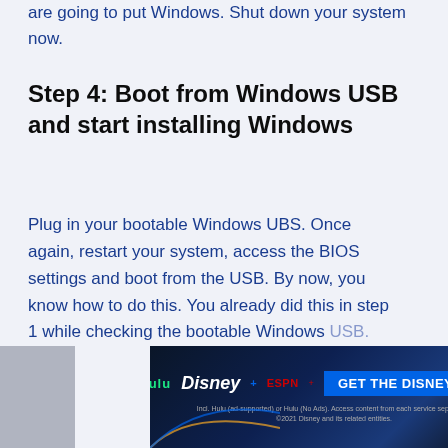are going to put Windows. Shut down your system now.
Step 4: Boot from Windows USB and start installing Windows
Plug in your bootable Windows UBS. Once again, restart your system, access the BIOS settings and boot from the USB. By now, you know how to do this. You already did this in step 1 while checking the bootable Windows USB.
[Figure (screenshot): Disney Bundle advertisement banner with Hulu, Disney+, ESPN+ logos and GET THE DISNEY BUNDLE call-to-action button]